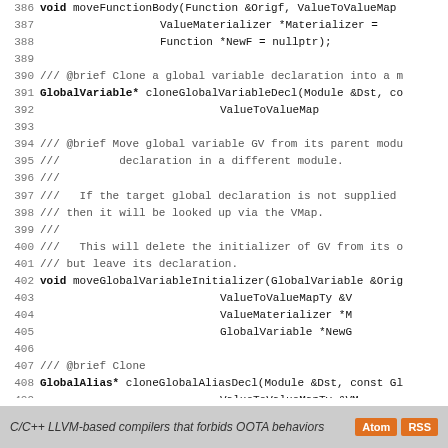Code listing lines 386-414, C++ header file for LLVM ORC IndirectionUtils
C/C++ LLVM-based compilers that forbids OOTA behaviors   Atom   RSS